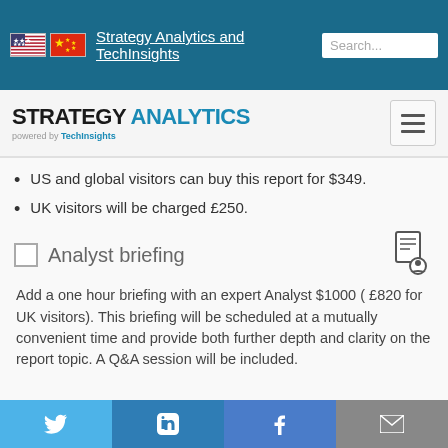Strategy Analytics and TechInsights
[Figure (logo): Strategy Analytics powered by TechInsights logo with hamburger menu]
US and global visitors can buy this report for $349.
UK visitors will be charged £250.
Analyst briefing — Add a one hour briefing with an expert Analyst $1000 ( £820 for UK visitors). This briefing will be scheduled at a mutually convenient time and provide both further depth and clarity on the report topic. A Q&A session will be included.
Twitter | LinkedIn | Facebook | Email